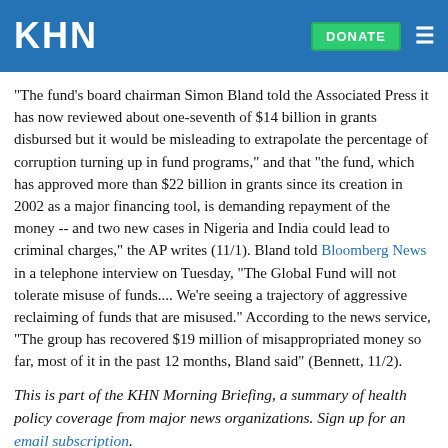KHN | DONATE
"The fund's board chairman Simon Bland told the Associated Press it has now reviewed about one-seventh of $14 billion in grants disbursed but it would be misleading to extrapolate the percentage of corruption turning up in fund programs," and that "the fund, which has approved more than $22 billion in grants since its creation in 2002 as a major financing tool, is demanding repayment of the money -- and two new cases in Nigeria and India could lead to criminal charges," the AP writes (11/1). Bland told Bloomberg News in a telephone interview on Tuesday, "The Global Fund will not tolerate misuse of funds.... We're seeing a trajectory of aggressive reclaiming of funds that are misused." According to the news service, "The group has recovered $19 million of misappropriated money so far, most of it in the past 12 months, Bland said" (Bennett, 11/2).
This is part of the KHN Morning Briefing, a summary of health policy coverage from major news organizations. Sign up for an email subscription.